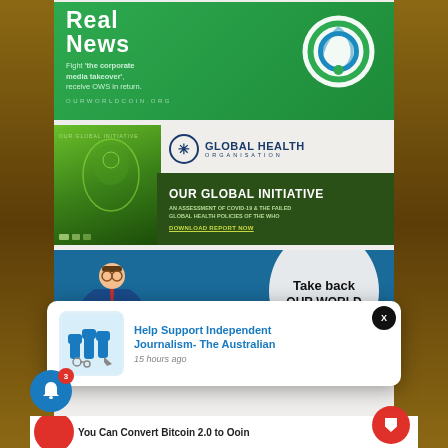[Figure (illustration): Advertisement banner for OurWorldCoin.org - green background with 'Real News' text, tagline 'Fight the corporate media takeover, receive OWS in return.', URL OURWORLDCOIN.ORG, and circular logo on right]
[Figure (illustration): Global Health Organisation advertisement - dark green background with report cover image on left, logo top right, headline 'OUR GLOBAL INITIATIVE', subtext 'AN ASSESSMENT OF COVID-19 & THE FAILED GLOBAL HEALTH POLICIES OF THE WHO', CTA 'DOWNLOAD REPORT NOW']
[Figure (illustration): Take back OUR WORLD advertisement - blue background with cartoon businessman figure and white circle containing 'Take back OUR WORLD' text, 'Click to Join' at bottom]
Help Support Independent Journalism- The Australian
15 hours ago
You Can Convert Bitcoin 2.0 to Ooin